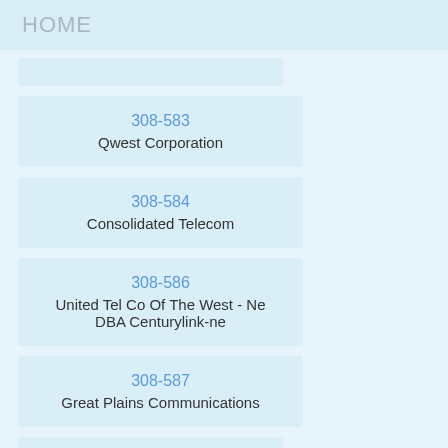HOME
308-583
Qwest Corporation
308-584
Consolidated Telecom
308-586
United Tel Co Of The West - Ne DBA Centurylink-ne
308-587
Great Plains Communications